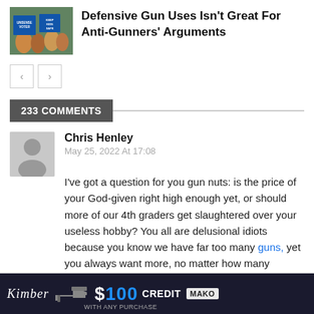[Figure (photo): Thumbnail image showing protest with signs reading 'UNSENSE VOTER', 'KEEP KIDS SAFE']
Defensive Gun Uses Isn't Great For Anti-Gunners' Arguments
233 COMMENTS
Chris Henley
May 25, 2022 At 17:08
I've got a question for you gun nuts: is the price of your God-given right high enough yet, or should more of our 4th graders get slaughtered over your useless hobby? You all are delusional idiots because you know we have far too many guns, yet you always want more, no matter how many children die. " Hey at least no one has infringed on your rights
[Figure (photo): Advertisement banner: Kimber logo, gun image, $100 CREDIT text, MAKO logo on dark background]